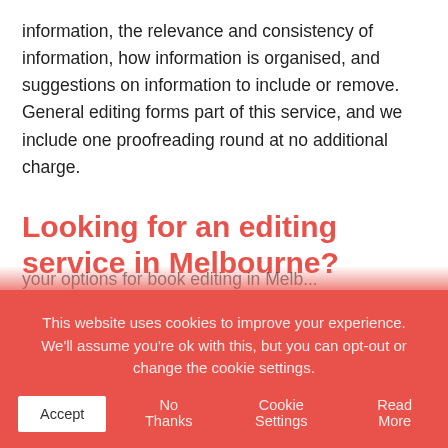information, the relevance and consistency of information, how information is organised, and suggestions on information to include or remove. General editing forms part of this service, and we include one proofreading round at no additional charge.
Looking for an editing service in Melbourne?
Contact Crockford Communications to discuss your options for book editing in Melb…
This website uses cookies to improve your experience. We'll assume you're ok with this, but you can opt-out or change the cookie settings.
Accept
No Thanks
Cookie Settings
Read More